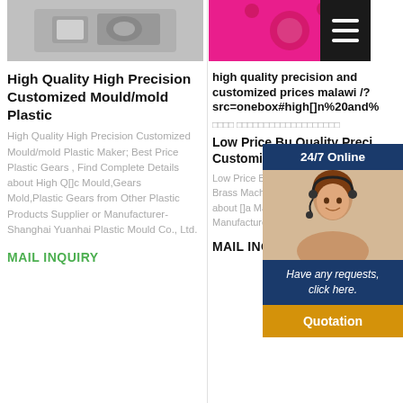[Figure (photo): Gray plastic mold/gear component product photo]
High Quality High Precision Customized Mould/mold Plastic
High Quality High Precision Customized Mould/mold Plastic Maker; Best Price Plastic Gears , Find Complete Details about High Q[]c Mould,Gears Mold,Plastic Gears from Other Plastic Products Supplier or Manufacturer-Shanghai Yuanhai Plastic Mould Co., Ltd.
MAIL INQUIRY
[Figure (photo): Pink metallic precision part product photo with hamburger menu icon overlay]
high quality precision and customized prices malawi /? src=onebox#high[]n%20and%
□□□□ □□□□□□□□□□□□□□□□□□□
Low Price Bu Quality Preci Customized
[Figure (photo): Customer service agent with headset, overlaid popup with 24/7 Online header, Have any requests click here text, and Quotation button]
Low Price But H Precision Custo Cnc Brass Mach Turning Parts , F Details about []a Machining Chin from Machining Manufacturer-D Precision Mech
MAIL INQUIR